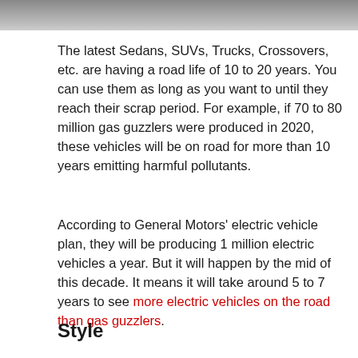[Figure (photo): Partial photo strip at top of page showing a blurred gray surface]
The latest Sedans, SUVs, Trucks, Crossovers, etc. are having a road life of 10 to 20 years. You can use them as long as you want to until they reach their scrap period. For example, if 70 to 80 million gas guzzlers were produced in 2020, these vehicles will be on road for more than 10 years emitting harmful pollutants.
According to General Motors' electric vehicle plan, they will be producing 1 million electric vehicles a year. But it will happen by the mid of this decade. It means it will take around 5 to 7 years to see more electric vehicles on the road than gas guzzlers.
Style